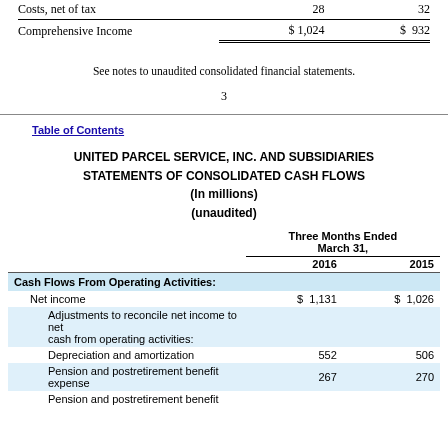|  | 2016 | 2015 |
| --- | --- | --- |
| Costs, net of tax | 28 | 32 |
| Comprehensive Income | $ 1,024 | $ 932 |
See notes to unaudited consolidated financial statements.
3
Table of Contents
UNITED PARCEL SERVICE, INC. AND SUBSIDIARIES STATEMENTS OF CONSOLIDATED CASH FLOWS (In millions) (unaudited)
|  | Three Months Ended March 31, 2016 | Three Months Ended March 31, 2015 |
| --- | --- | --- |
| Cash Flows From Operating Activities: |  |  |
| Net income | $ 1,131 | $ 1,026 |
| Adjustments to reconcile net income to net cash from operating activities: |  |  |
| Depreciation and amortization | 552 | 506 |
| Pension and postretirement benefit expense | 267 | 270 |
| Pension and postretirement benefit |  |  |